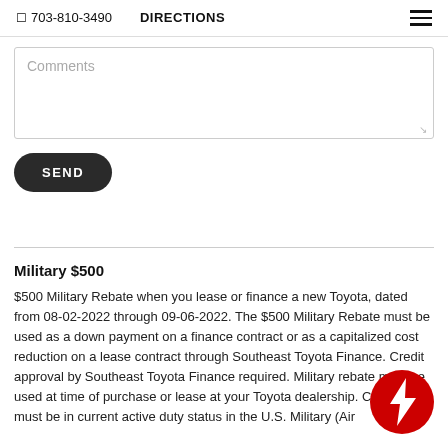☐ 703-810-3490   DIRECTIONS
Comments
SEND
Military $500
$500 Military Rebate when you lease or finance a new Toyota, dated from 08-02-2022 through 09-06-2022. The $500 Military Rebate must be used as a down payment on a finance contract or as a capitalized cost reduction on a lease contract through Southeast Toyota Fi... Credit approval by Southeast Toyota Finance required. Militar... must be used at time of purchase or lease at your Toyota deale... Customers must be in current active duty status in the U.S. Military (Air